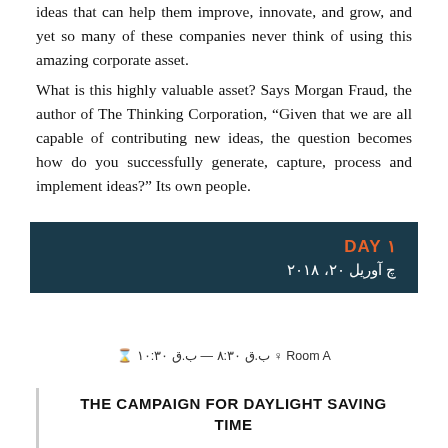ideas that can help them improve, innovate, and grow, and yet so many of these companies never think of using this amazing corporate asset.
What is this highly valuable asset? Says Morgan Fraud, the author of The Thinking Corporation, “Given that we are all capable of contributing new ideas, the question becomes how do you successfully generate, capture, process and implement ideas?” Its own people.
DAY ۱
چ آوریل ۲۰، ۲۰۱۸
Room A ♀ ب.ق ۸:۳۰ — ب.ق ۱۰:۳۰
THE CAMPAIGN FOR DAYLIGHT SAVING TIME